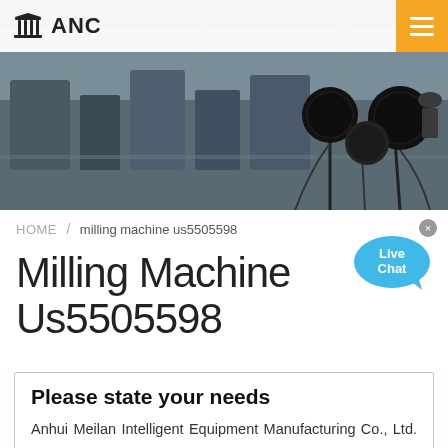[Figure (photo): Factory/warehouse interior with industrial equipment and overhead cranes, overlaid with microphones in the foreground]
ANC
HOME / milling machine us5505598
Milling Machine Us5505598
Please state your needs
Anhui Meilan Intelligent Equipment Manufacturing Co., Ltd. warmly welcome all walks of life to contact us, we are waiting for your inquiry all day!